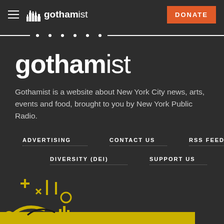gothamist — DONATE
gothamist
Gothamist is a website about New York City news, arts, events and food, brought to you by New York Public Radio.
ADVERTISING
CONTACT US
RSS FEED
DIVERSITY (DEI)
SUPPORT US
[Figure (illustration): Yellow decorative illustration with abstract shapes, plus signs, circles, and curved lines at the bottom of the page]